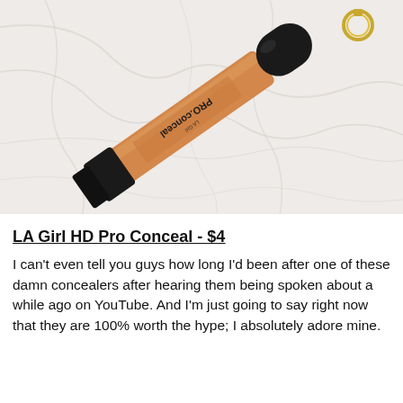[Figure (photo): Photo of an LA Girl HD Pro Conceal tube lying diagonally on a white marble surface. The concealer tube is orange/tan colored with a black cap and black squeeze end. A gold keyring is visible in the upper right corner.]
LA Girl HD Pro Conceal - $4
I can't even tell you guys how long I'd been after one of these damn concealers after hearing them being spoken about a while ago on YouTube. And I'm just going to say right now that they are 100% worth the hype; I absolutely adore mine.